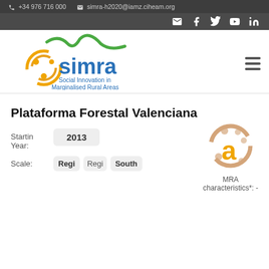+34 976 716 000   simra-h2020@iamz.ciheam.org
[Figure (logo): SIMRA logo — Social Innovation in Marginalised Rural Areas, with green mountain/wave graphic and orange circular figure icon]
Plataforma Forestal Valenciana
Starting Year: 2013
Scale: Regi  Regi  South
[Figure (logo): SIMRA 'a' icon — orange letter a with circular figure surrounding it]
MRA characteristics*: -